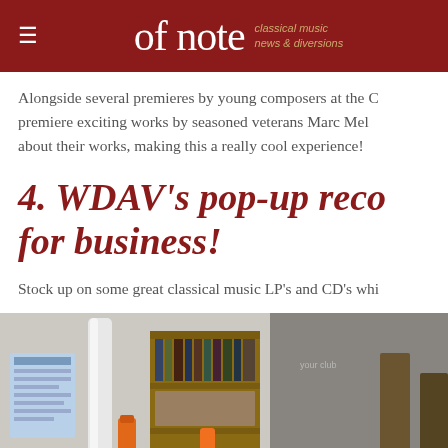of note — classical music news & diversions
Alongside several premieres by young composers at the C... premiere exciting works by seasoned veterans Marc Mel... about their works, making this a really cool experience!
4. WDAV's pop-up reco... for business!
Stock up on some great classical music LP's and CD's whi...
[Figure (photo): Interior photo of what appears to be a record shop or music store pop-up, showing shelving with items, containers, and a person in a blue shirt in the background.]